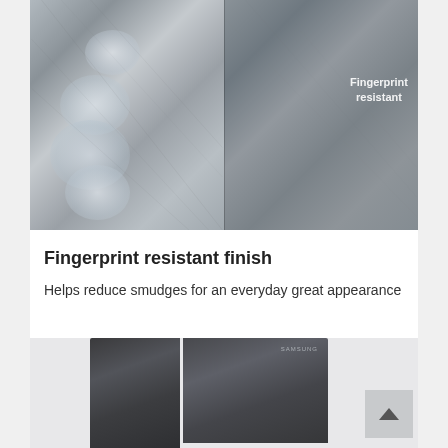[Figure (photo): Split comparison image showing stainless steel surface with fingerprint smudges on the left half and a clean fingerprint-resistant surface on the right half, with text 'Fingerprint resistant' overlaid on the right panel]
Fingerprint resistant finish
Helps reduce smudges for an everyday great appearance
[Figure (photo): Bottom portion of a dark stainless steel Samsung side-by-side refrigerator]